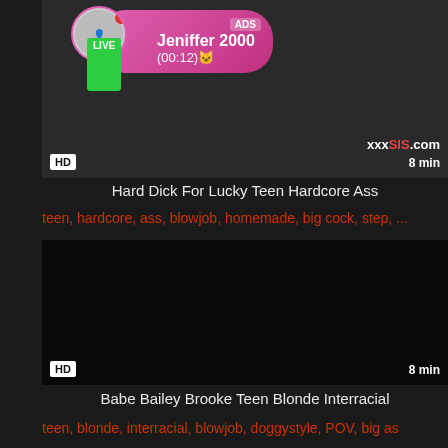[Figure (screenshot): Video thumbnail showing a person with HD badge, 8 min duration, xxxSIS.com watermark, and an ad overlay for Jeniffer 2000 LIVE]
Hard Dick For Lucky Teen Hardcore Ass
teen, hardcore, ass, blowjob, homemade, big cock, step, ...
[Figure (screenshot): Dark/black video thumbnail with HD badge and 8 min duration]
Babe Bailey Brooke Teen Blonde Interracial
teen, blonde, interracial, blowjob, doggystyle, POV, big as...